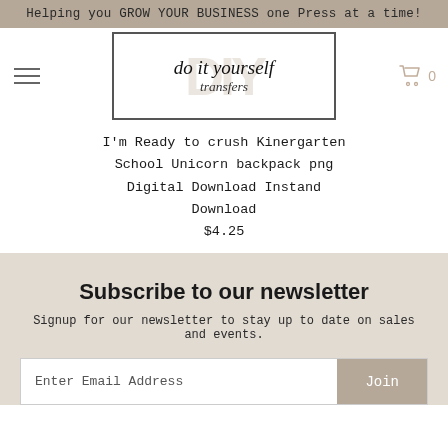Helping you GROW YOUR BUSINESS one Press at a time!
[Figure (logo): Do It Yourself Transfers logo with cursive script text inside a rectangle, with DIY watermark in background]
I'm Ready to crush Kinergarten School Unicorn backpack png Digital Download Instand Download
$4.25
Subscribe to our newsletter
Signup for our newsletter to stay up to date on sales and events.
Enter Email Address | Join